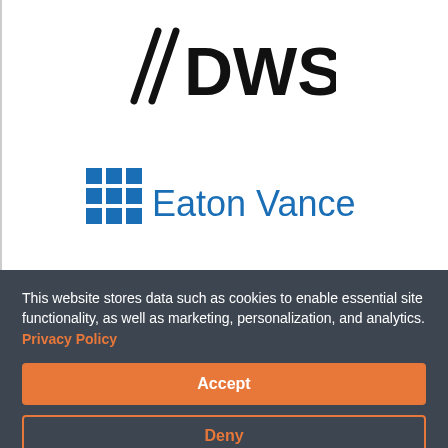[Figure (logo): DWS logo: two diagonal slash marks followed by bold text 'DWS']
[Figure (logo): Eaton Vance logo: blue grid of 9 squares (3x3) followed by text 'Eaton Vance' in blue]
This website stores data such as cookies to enable essential site functionality, as well as marketing, personalization, and analytics. Privacy Policy
Accept
Deny